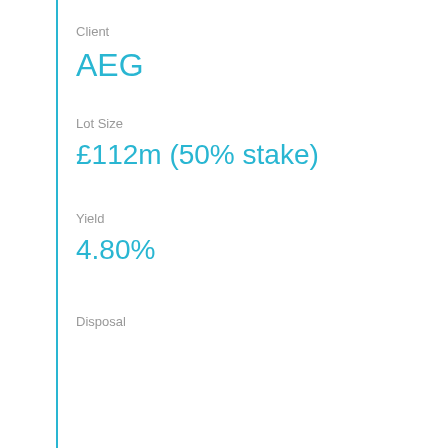Client
AEG
Lot Size
£112m (50% stake)
Yield
4.80%
Disposal